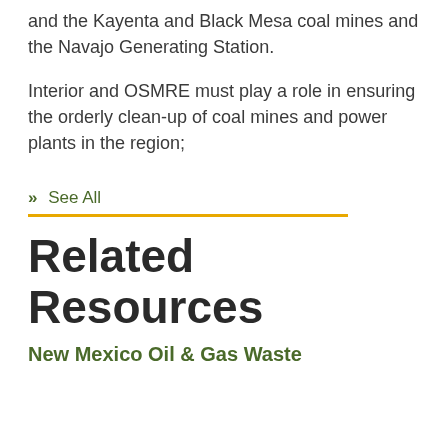and the Kayenta and Black Mesa coal mines and the Navajo Generating Station.
Interior and OSMRE must play a role in ensuring the orderly clean-up of coal mines and power plants in the region;
» See All
Related Resources
New Mexico Oil & Gas Waste